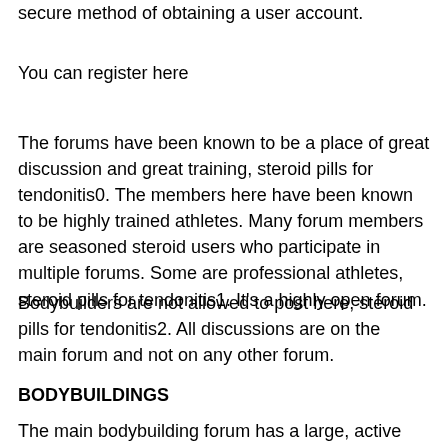secure method of obtaining a user account.
You can register here
The forums have been known to be a place of great discussion and great training, steroid pills for tendonitis0. The members here have been known to be highly trained athletes. Many forum members are seasoned steroid users who participate in multiple forums. Some are professional athletes, steroid pills for tendonitis1. It's a highly open forum.
Bodybuilders are not allowed to post here, steroid pills for tendonitis2. All discussions are on the main forum and not on any other forum.
BODYBUILDINGS
The main bodybuilding forum has a large, active discussion board and extensive